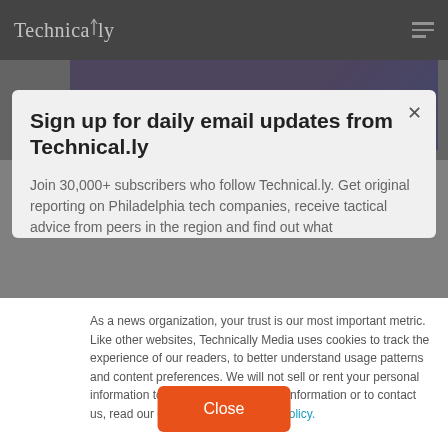Technically
Sign up for daily email updates from Technical.ly
Join 30,000+ subscribers who follow Technical.ly. Get original reporting on Philadelphia tech companies, receive tactical advice from peers in the region and find out what
As a news organization, your trust is our most important metric. Like other websites, Technically Media uses cookies to track the experience of our readers, to better understand usage patterns and content preferences. We will not sell or rent your personal information to third parties. For more information or to contact us, read our entire Ethics & Privacy Policy.
Close